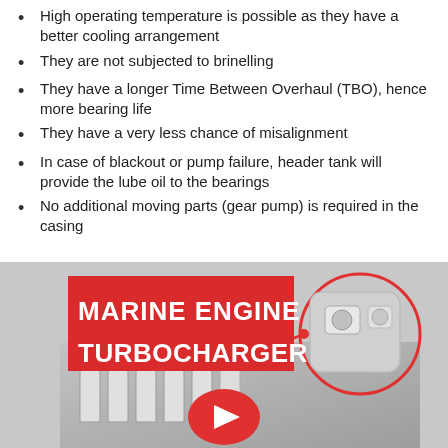High operating temperature is possible as they have a better cooling arrangement
They are not subjected to brinelling
They have a longer Time Between Overhaul (TBO), hence more bearing life
They have a very less chance of misalignment
In case of blackout or pump failure, header tank will provide the lube oil to the bearings
No additional moving parts (gear pump) is required in the casing
[Figure (photo): Marine engine turbocharger thumbnail image showing a large marine engine with a turbocharger component highlighted in a red circle, with bold white text on red background reading MARINE ENGINE TURBOCHARGER and a YouTube play button overlay]